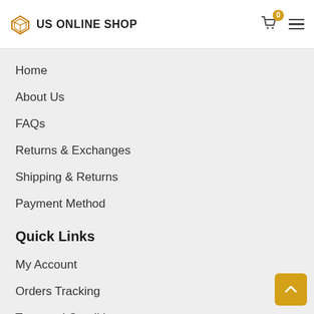US ONLINE SHOP
Home
About Us
FAQs
Returns & Exchanges
Shipping & Returns
Payment Method
Quick Links
My Account
Orders Tracking
Term and Conditions
Privacy Policy